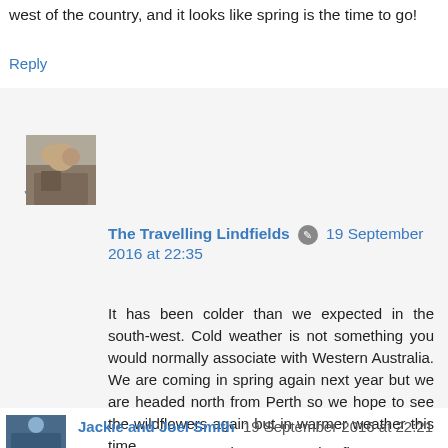west of the country, and it looks like spring is the time to go!
Reply
▾ Replies
The Travelling Lindfields ✎ 19 September 2016 at 22:35
It has been colder than we expected in the south-west. Cold weather is not something you would normally associate with Western Australia. We are coming in spring again next year but we are headed north from Perth so we hope to see the wildflowers again but in warmer weather this time.
Reply
Jackie and Joel Smith 19 September 2016 at 22:21
Loved your comment about not naming flowers as I seem